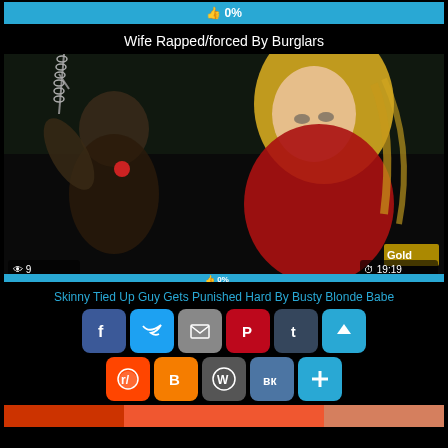👍 0%
Wife Rapped/forced By Burglars
[Figure (screenshot): Video thumbnail showing two figures in a dark room with chains; views count 9, duration 19:19, like rating 0%]
Skinny Tied Up Guy Gets Punished Hard By Busty Blonde Babe
[Figure (infographic): Social share buttons row 1: Facebook, Twitter, Email, Pinterest, Tumblr, and scroll-up arrow]
[Figure (infographic): Social share buttons row 2: Reddit, Blogger, WordPress, VK, Add/More]
[Figure (screenshot): Partial bottom preview thumbnail in red/orange tones]